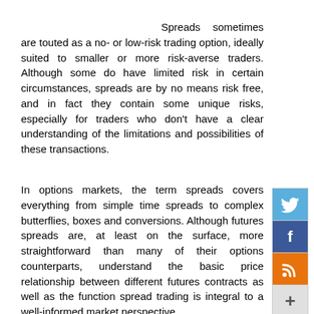Spreads sometimes are touted as a no- or low-risk trading option, ideally suited to smaller or more risk-averse traders. Although some do have limited risk in certain circumstances, spreads are by no means risk free, and in fact they contain some unique risks, especially for traders who don't have a clear understanding of the limitations and possibilities of these transactions.
In options markets, the term spreads covers everything from simple time spreads to complex butterflies, boxes and conversions. Although futures spreads are, at least on the surface, more straightforward than many of their options counterparts, understand the basic price relationship between different futures contracts as well as the function spread trading is integral to a well-informed market perspective.